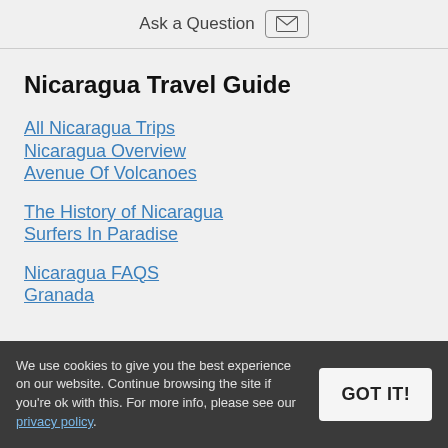Ask a Question
Nicaragua Travel Guide
All Nicaragua Trips
Nicaragua Overview
Avenue Of Volcanoes
The History of Nicaragua
Surfers In Paradise
Nicaragua FAQS
Granada
We use cookies to give you the best experience on our website. Continue browsing the site if you're ok with this. For more info, please see our privacy policy.